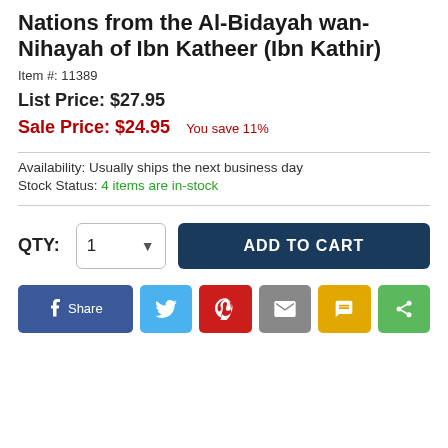Nations from the Al-Bidayah wan-Nihayah of Ibn Katheer (Ibn Kathir)
Item #: 11389
List Price: $27.95
Sale Price: $24.95   You save 11%
Availability: Usually ships the next business day
Stock Status: 4 items are in-stock
QTY: 1  ADD TO CART
[Figure (infographic): Social share buttons: Facebook Share, Twitter, Pinterest, Email, SMS, Share]